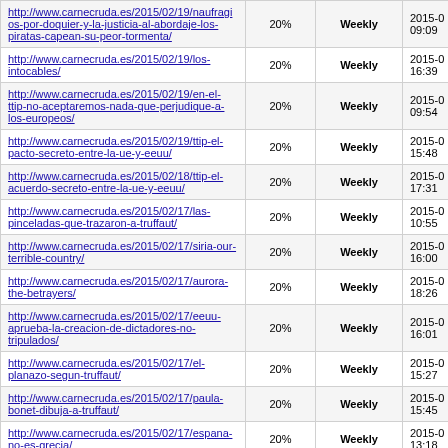| URL | Priority | Change Freq | Last Modified |
| --- | --- | --- | --- |
| http://www.carnecruda.es/2015/02/19/naufragios-por-doquier-y-la-justicia-al-abordaje-los-piratas-capean-su-peor-tormenta/ | 20% | Weekly | 2015-0… 09:09 |
| http://www.carnecruda.es/2015/02/19/los-intocables/ | 20% | Weekly | 2015-0… 16:39 |
| http://www.carnecruda.es/2015/02/19/en-el-ttip-no-aceptaremos-nada-que-perjudique-a-los-europeos/ | 20% | Weekly | 2015-0… 09:54 |
| http://www.carnecruda.es/2015/02/19/ttip-el-pacto-secreto-entre-la-ue-y-eeuu/ | 20% | Weekly | 2015-0… 15:48 |
| http://www.carnecruda.es/2015/02/18/ttip-el-acuerdo-secreto-entre-la-ue-y-eeuu/ | 20% | Weekly | 2015-0… 17:31 |
| http://www.carnecruda.es/2015/02/17/las-pinceladas-que-trazaron-a-truffaut/ | 20% | Weekly | 2015-0… 10:55 |
| http://www.carnecruda.es/2015/02/17/siria-our-terrible-country/ | 20% | Weekly | 2015-0… 16:00 |
| http://www.carnecruda.es/2015/02/17/aurora-the-betrayers/ | 20% | Weekly | 2015-0… 18:26 |
| http://www.carnecruda.es/2015/02/17/eeuu-aprueba-la-creacion-de-dictadores-no-tripulados/ | 20% | Weekly | 2015-0… 16:01 |
| http://www.carnecruda.es/2015/02/17/el-planazo-segun-truffaut/ | 20% | Weekly | 2015-0… 15:27 |
| http://www.carnecruda.es/2015/02/17/paula-bonet-dibuja-a-truffaut/ | 20% | Weekly | 2015-0… 15:45 |
| http://www.carnecruda.es/2015/02/17/espana-no-es-grecia/ | 20% | Weekly | 2015-0… 13:18 |